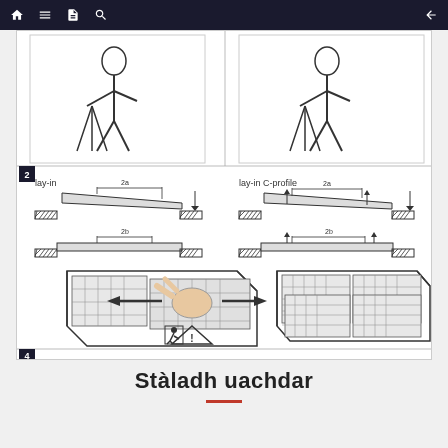Navigation bar with home, menu, document, search, and back icons
[Figure (schematic): Multi-step installation diagram for ceiling tiles. Step 2 shows person installing with tools and panel profiles (lay-in and lay-in C-profile with 2a, 2b sub-steps). Step 3 shows hand sliding ceiling tile panels into a grid frame with warning symbols. Step 4 label at bottom.]
Stàladh uachdar